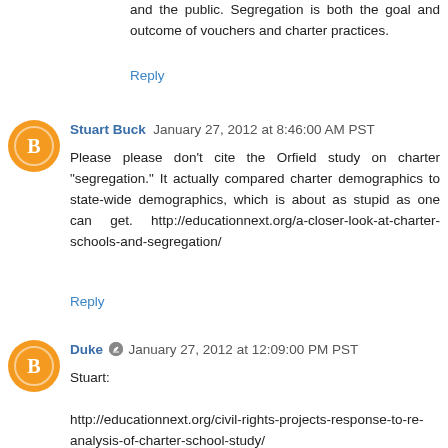and the public. Segregation is both the goal and outcome of vouchers and charter practices.
Reply
Stuart Buck  January 27, 2012 at 8:46:00 AM PST
Please please don't cite the Orfield study on charter "segregation." It actually compared charter demographics to state-wide demographics, which is about as stupid as one can get. http://educationnext.org/a-closer-look-at-charter-schools-and-segregation/
Reply
Duke  January 27, 2012 at 12:09:00 PM PST
Stuart:

http://educationnext.org/civil-rights-projects-response-to-re-analysis-of-charter-school-study/

I do think there are some interesting points in the critique